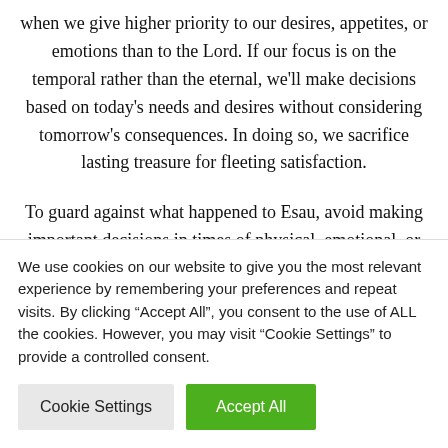when we give higher priority to our desires, appetites, or emotions than to the Lord. If our focus is on the temporal rather than the eternal, we'll make decisions based on today's needs and desires without considering tomorrow's consequences. In doing so, we sacrifice lasting treasure for fleeting satisfaction.
To guard against what happened to Esau, avoid making important decisions in times of physical, emotional, or spiritual weakness. Take time to ask the Lord for guidance, and let
We use cookies on our website to give you the most relevant experience by remembering your preferences and repeat visits. By clicking "Accept All", you consent to the use of ALL the cookies. However, you may visit "Cookie Settings" to provide a controlled consent.